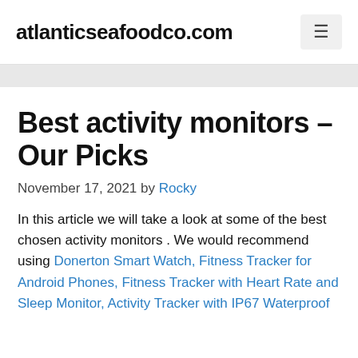atlanticseafoodco.com
Best activity monitors – Our Picks
November 17, 2021 by Rocky
In this article we will take a look at some of the best chosen activity monitors . We would recommend using Donerton Smart Watch, Fitness Tracker for Android Phones, Fitness Tracker with Heart Rate and Sleep Monitor, Activity Tracker with IP67 Waterproof